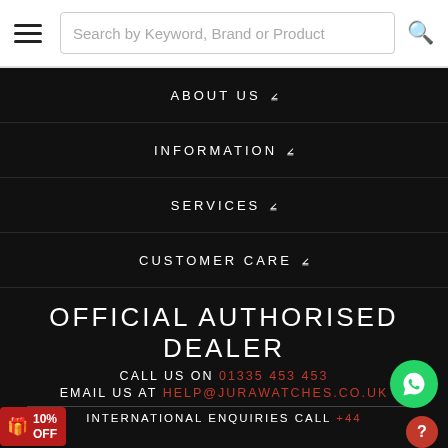[Figure (screenshot): Search bar with hamburger menu icon and search field placeholder 'Search by Keyword, Brand or Product' with magnifying glass icon]
ABOUT US ▾
INFORMATION ▾
SERVICES ▾
CUSTOMER CARE ▾
OFFICIAL AUTHORISED DEALER
CALL US ON 01335 453 453
EMAIL US AT HELP@JURAWATCHES.CO.UK
INTERNATIONAL ENQUIRIES CALL +44